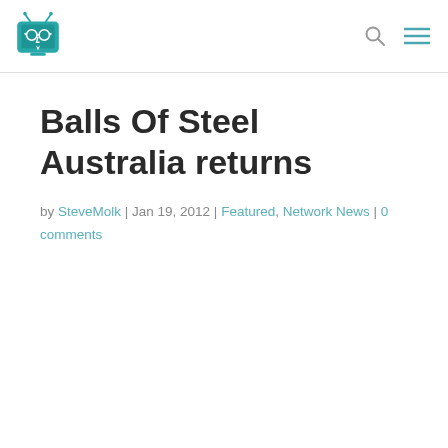Logo and navigation header
Balls Of Steel Australia returns
by SteveMolk | Jan 19, 2012 | Featured, Network News | 0 comments